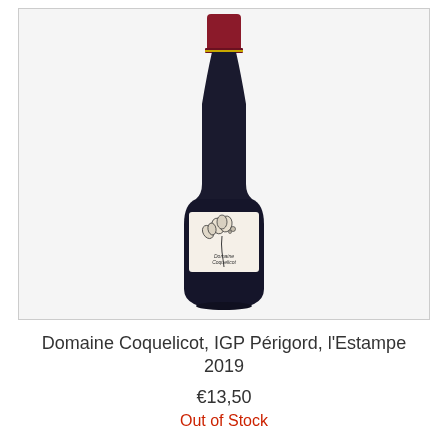[Figure (photo): A dark red wine bottle with a cream-colored label featuring an artistic illustration of poppy flowers (Domaine Coquelicot), red capsule at top]
Domaine Coquelicot, IGP Périgord, l'Estampe 2019
€13,50
Out of Stock